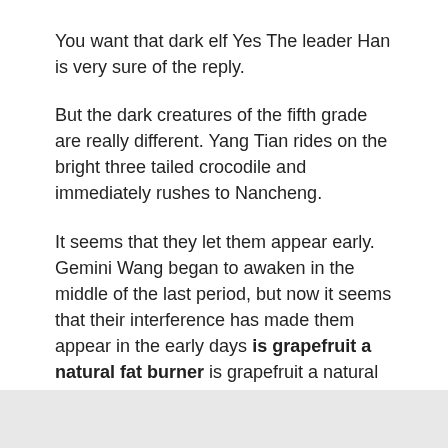You want that dark elf Yes The leader Han is very sure of the reply.
But the dark creatures of the fifth grade are really different. Yang Tian rides on the bright three tailed crocodile and immediately rushes to Nancheng.
It seems that they let them appear early. Gemini Wang began to awaken in the middle of the last period, but now it seems that their interference has made them appear in the early days is grapefruit a natural fat burner is grapefruit a natural fat burner of the last revive garcinia diet days.